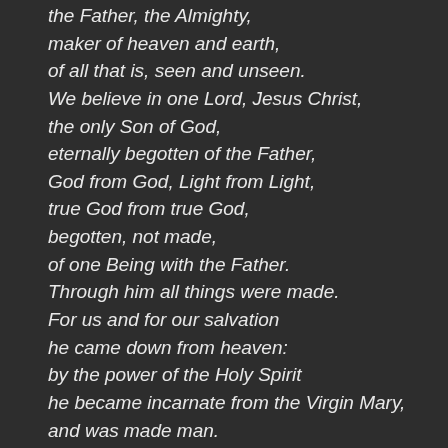the Father, the Almighty,
maker of heaven and earth,
of all that is, seen and unseen.
We believe in one Lord, Jesus Christ,
the only Son of God,
eterally begotten of the Father,
God from God, Light from Light,
true God from true God,
begotten, not made,
of one Being with the Father.
Through him all things were made.
For us and for our salvation
he came down from heaven:
by the power of the Holy Spirit
he became incarnate from the Virgin Mary,
and was made man.
For our sake he was crucified under Pontius Pilate;
he suffered death and was buried.
On the third day he rose again,